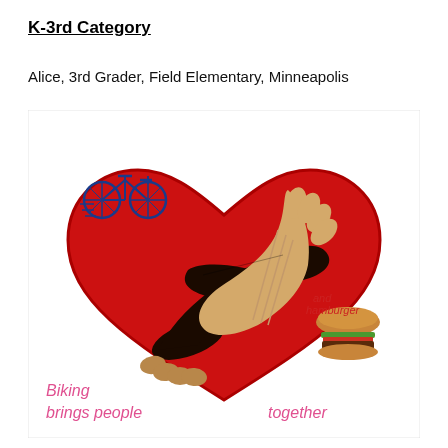K-3rd Category
Alice, 3rd Grader, Field Elementary, Minneapolis
[Figure (illustration): Child's drawing of two hands shaking inside a red heart shape. A blue bicycle is in the upper left. A hamburger is in the lower right. Text in pink reads 'Biking brings people together' and in red 'and hamburger'.]